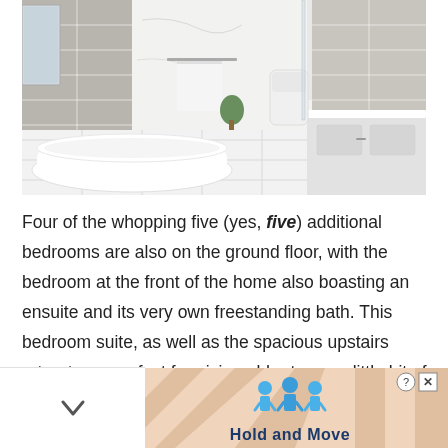[Figure (photo): Modern white bathroom with freestanding bathtub, gray subway tile walls, marble surfaces, walk-in shower, toilet, and vanity with storage cabinet]
Four of the whopping five (yes, five) additional bedrooms are also on the ground floor, with the bedroom at the front of the home also boasting an ensuite and its very own freestanding bath. This bedroom suite, as well as the spacious upstairs retreat, are perfect for giving older teens a little bit of breathing room. The assortment of rooms... only –
[Figure (screenshot): Advertisement overlay showing 'Hold and Move' app with three blue cartoon figures and a close button, overlaid on a peach/tan striped background]